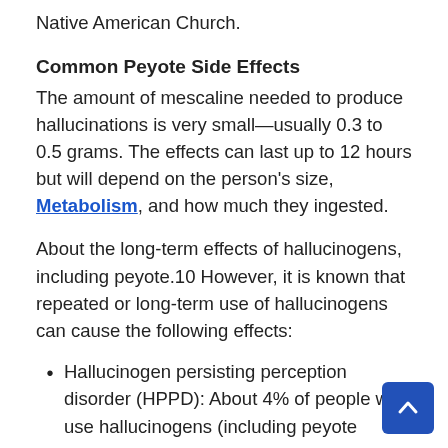Native American Church.
Common Peyote Side Effects
The amount of mescaline needed to produce hallucinations is very small—usually 0.3 to 0.5 grams. The effects can last up to 12 hours but will depend on the person's size, Metabolism, and how much they ingested.
About the long-term effects of hallucinogens, including peyote.10 However, it is known that repeated or long-term use of hallucinogens can cause the following effects:
Hallucinogen persisting perception disorder (HPPD): About 4% of people who use hallucinogens (including peyote